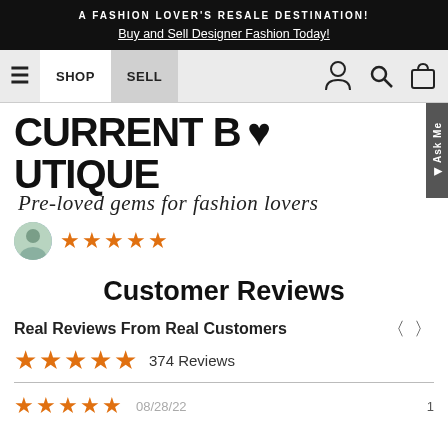A FASHION LOVER'S RESALE DESTINATION! Buy and Sell Designer Fashion Today!
[Figure (screenshot): Navigation bar with hamburger menu, SHOP button, SELL button, user icon, search icon, and bag icon]
[Figure (logo): Current Boutique logo with heart shape in 'O', tagline: Pre-loved gems for fashion lovers, with avatar and 5-star rating]
Customer Reviews
Real Reviews From Real Customers
374 Reviews
08/28/22